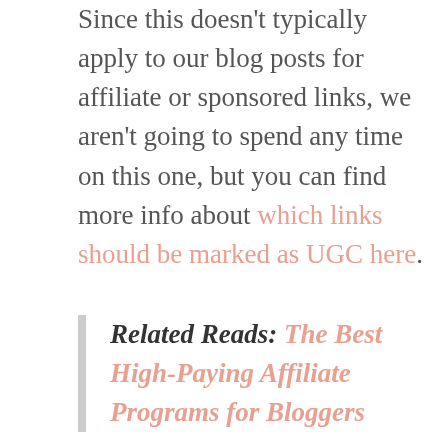Since this doesn't typically apply to our blog posts for affiliate or sponsored links, we aren't going to spend any time on this one, but you can find more info about which links should be marked as UGC here.
Related Reads: The Best High-Paying Affiliate Programs for Bloggers